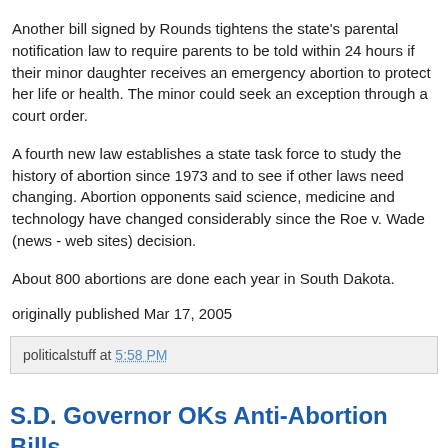Another bill signed by Rounds tightens the state's parental notification law to require parents to be told within 24 hours if their minor daughter receives an emergency abortion to protect her life or health. The minor could seek an exception through a court order.
A fourth new law establishes a state task force to study the history of abortion since 1973 and to see if other laws need changing. Abortion opponents said science, medicine and technology have changed considerably since the Roe v. Wade (news - web sites) decision.
About 800 abortions are done each year in South Dakota.
originally published Mar 17, 2005
politicalstuff at 5:58 PM
S.D. Governor OKs Anti-Abortion Bills